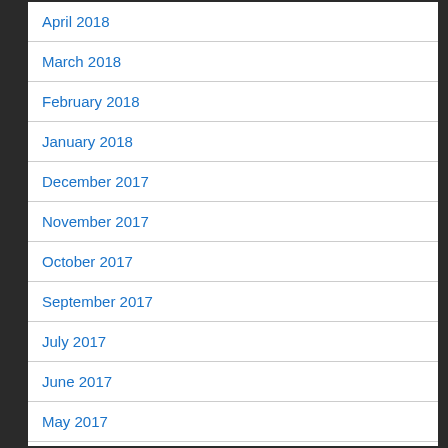April 2018
March 2018
February 2018
January 2018
December 2017
November 2017
October 2017
September 2017
July 2017
June 2017
May 2017
April 2017
March 2017
February 2017
January 2017